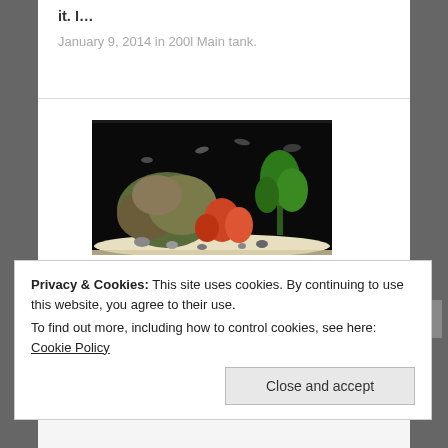it. I…
January 9, 2014 in 200l Main tank.
[Figure (photo): Aquarium tank photo showing rocks, aquatic plants, coral-like decorations, and small fish against a dark background with white sandy substrate.]
Red chinned Sticklebacks and Tank
Privacy & Cookies: This site uses cookies. By continuing to use this website, you agree to their use.
To find out more, including how to control cookies, see here: Cookie Policy
Close and accept